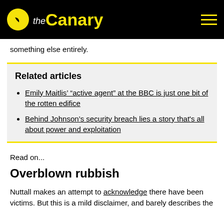the Canary
something else entirely.
Related articles
Emily Maitlis' “active agent” at the BBC is just one bit of the rotten edifice
Behind Johnson’s security breach lies a story that’s all about power and exploitation
Read on...
Overblown rubbish
Nuttall makes an attempt to acknowledge there have been victims. But this is a mild disclaimer, and barely scratches the surface of the